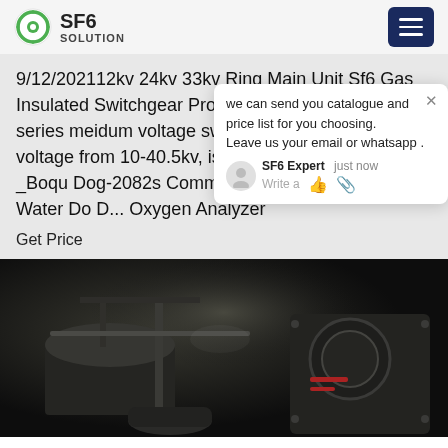SF6 SOLUTION
9/12/202112kv 24kv 33kv Ring Main Unit Sf6 Gas Insulated Switchgear Product description SRM series meidum voltage switchgear, with a rated voltage from 10-40.5kv, is a Read M... processing _Boqu Dog-2082s Comm... RS485 Modbus Ground Water Do D... Oxygen Analyzer
Get Price
[Figure (screenshot): Chat popup overlay with message: we can send you catalogue and price list for you choosing. Leave us your email or whatsapp . SF6 Expert just now. Write a...]
[Figure (photo): Dark industrial photo of SF6 gas insulated switchgear equipment — large metal tanks and pipes in an electrical substation or industrial facility]